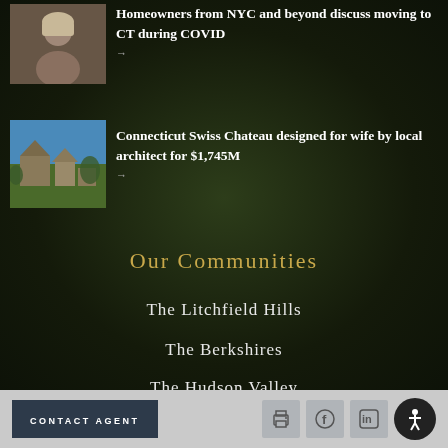[Figure (photo): Thumbnail photo of a person, likely a woman with light hair outdoors]
Homeowners from NYC and beyond discuss moving to CT during COVID
[Figure (photo): Thumbnail photo of a Swiss Chateau style building with blue sky]
Connecticut Swiss Chateau designed for wife by local architect for $1,745M
Our Communities
The Litchfield Hills
The Berkshires
The Hudson Valley
CONTACT AGENT